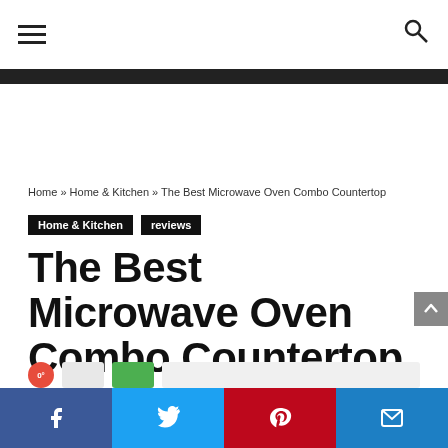Navigation bar with hamburger menu and search icon
Home » Home & Kitchen » The Best Microwave Oven Combo Countertop
Home & Kitchen   reviews
The Best Microwave Oven Combo Countertop
shopsillage • July 16, 2020  4
Social share bar: Facebook, Twitter, Pinterest, Email